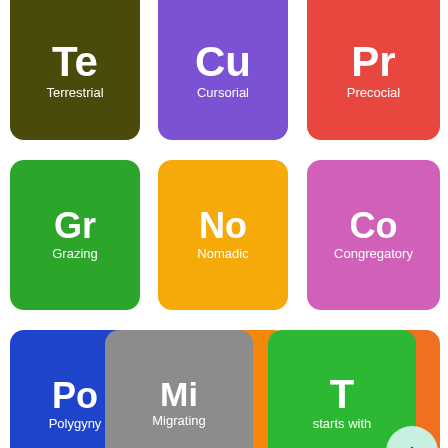[Figure (infographic): Grid of periodic-table-style cards showing animal behavior/trait categories. Row 1 (partial/cropped at top): Te=Terrestrial (dark olive), Cu=Cursorial (purple), Pr=Precocial (red). Row 2: Gr=Grazing (green), No=Nomadic (yellow), Co=Congregatory (pink/purple). Row 3: Po=Polygyny (blue), So=Social (orange), He=Herding (dark orange). Row 4 (partial): Mi=Migrating (grey), T=starts with (green). A scroll-up button circle appears bottom right.]